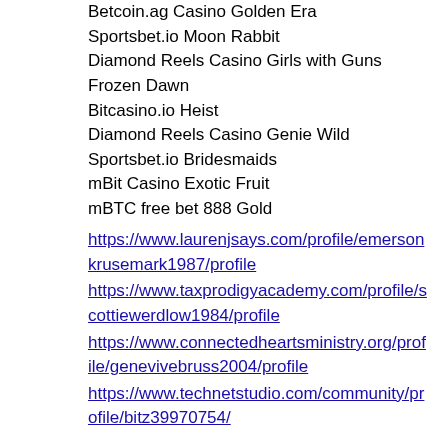Betcoin.ag Casino Golden Era
Sportsbet.io Moon Rabbit
Diamond Reels Casino Girls with Guns Frozen Dawn
Bitcasino.io Heist
Diamond Reels Casino Genie Wild
Sportsbet.io Bridesmaids
mBit Casino Exotic Fruit
mBTC free bet 888 Gold
https://www.laurenjsays.com/profile/emersonkrusemark1987/profile
https://www.taxprodigyacademy.com/profile/scottiewerdlow1984/profile
https://www.connectedheartsministry.org/profile/genevivebruss2004/profile
https://www.technetstudio.com/community/profile/bitz39970754/